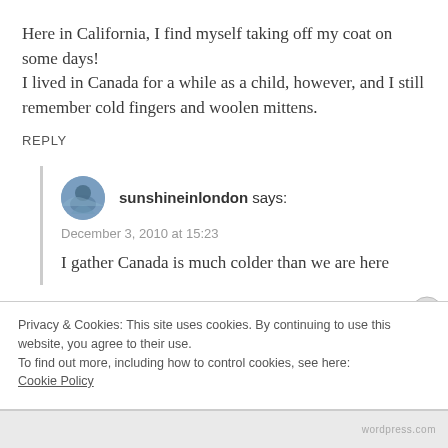Here in California, I find myself taking off my coat on some days!
I lived in Canada for a while as a child, however, and I still remember cold fingers and woolen mittens.
REPLY
sunshineinlondon says:
December 3, 2010 at 15:23
I gather Canada is much colder than we are here
Privacy & Cookies: This site uses cookies. By continuing to use this website, you agree to their use.
To find out more, including how to control cookies, see here:
Cookie Policy
Close and accept